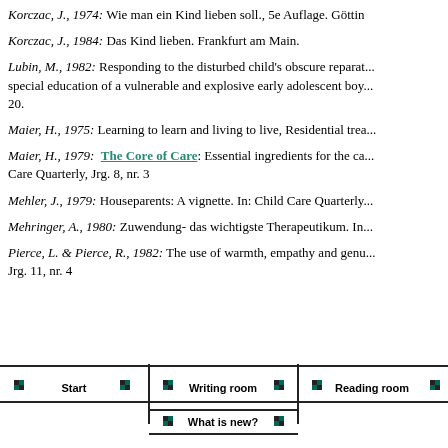Korczac, J., 1974: Wie man ein Kind lieben soll., 5e Auflage. Göttin...
Korczac, J., 1984: Das Kind lieben. Frankfurt am Main.
Lubin, M., 1982: Responding to the disturbed child's obscure reparat... special education of a vulnerable and explosive early adolescent boy... 20.
Maier, H., 1975: Learning to learn and living to live, Residential trea...
Maier, H., 1979: The Core of Care: Essential ingredients for the ca... Care Quarterly, Jrg. 8, nr. 3
Mehler, J., 1979: Houseparents: A vignette. In: Child Care Quarterly...
Mehringer, A., 1980: Zuwendung- das wichtigste Therapeutikum. In...
Pierce, L. & Pierce, R., 1982: The use of warmth, empathy and genu... Jrg. 11, nr. 4
[Figure (other): Navigation bar with buttons: Start, Writing room, Reading room, What is new? Each button has small teal/black checkered icons on each side and is separated by vertical and horizontal lines.]